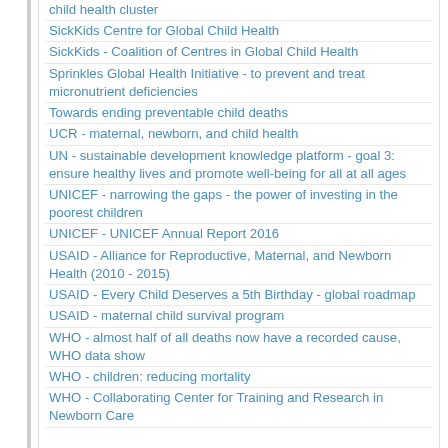child health cluster
SickKids Centre for Global Child Health
SickKids - Coalition of Centres in Global Child Health
Sprinkles Global Health Initiative - to prevent and treat micronutrient deficiencies
Towards ending preventable child deaths
UCR - maternal, newborn, and child health
UN - sustainable development knowledge platform - goal 3: ensure healthy lives and promote well-being for all at all ages
UNICEF - narrowing the gaps - the power of investing in the poorest children
UNICEF - UNICEF Annual Report 2016
USAID - Alliance for Reproductive, Maternal, and Newborn Health (2010 - 2015)
USAID - Every Child Deserves a 5th Birthday - global roadmap
USAID - maternal child survival program
WHO - almost half of all deaths now have a recorded cause, WHO data show
WHO - children: reducing mortality
WHO - Collaborating Center for Training and Research in Newborn Care